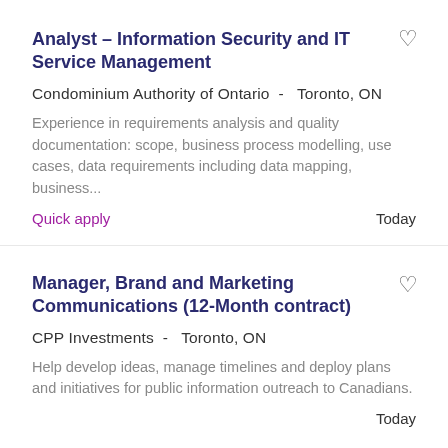Analyst – Information Security and IT Service Management
Condominium Authority of Ontario -   Toronto, ON
Experience in requirements analysis and quality documentation: scope, business process modelling, use cases, data requirements including data mapping, business...
Quick apply	Today
Manager, Brand and Marketing Communications (12-Month contract)
CPP Investments -   Toronto, ON
Help develop ideas, manage timelines and deploy plans and initiatives for public information outreach to Canadians.
Today